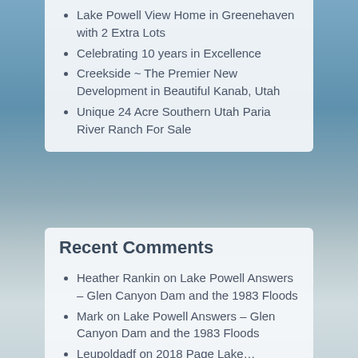Lake Powell View Home in Greenehaven with 2 Extra Lots
Celebrating 10 years in Excellence
Creekside ~ The Premier New Development in Beautiful Kanab, Utah
Unique 24 Acre Southern Utah Paria River Ranch For Sale
Recent Comments
Heather Rankin on Lake Powell Answers – Glen Canyon Dam and the 1983 Floods
Mark on Lake Powell Answers – Glen Canyon Dam and the 1983 Floods
Leupoldadf on 2018 Page Lake…